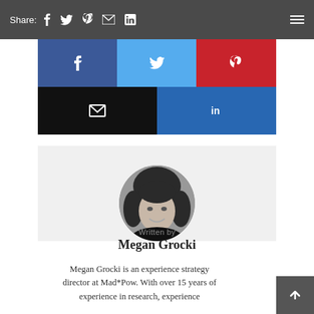Share: f  twitter  pinterest  email  in
[Figure (infographic): Social media share buttons grid: Facebook (blue), Twitter (light blue), Pinterest (red) in top row; Email (black), LinkedIn (blue) in bottom row]
[Figure (photo): Circular black-and-white portrait photo of Megan Grocki, smiling woman with dark hair]
Written by
Megan Grocki
Megan Grocki is an experience strategy director at Mad*Pow. With over 15 years of experience in research, experience